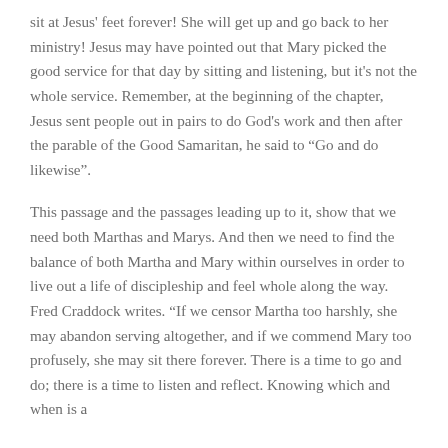sit at Jesus' feet forever! She will get up and go back to her ministry! Jesus may have pointed out that Mary picked the good service for that day by sitting and listening, but it's not the whole service. Remember, at the beginning of the chapter, Jesus sent people out in pairs to do God's work and then after the parable of the Good Samaritan, he said to “Go and do likewise”.
This passage and the passages leading up to it, show that we need both Marthas and Marys. And then we need to find the balance of both Martha and Mary within ourselves in order to live out a life of discipleship and feel whole along the way. Fred Craddock writes. “If we censor Martha too harshly, she may abandon serving altogether, and if we commend Mary too profusely, she may sit there forever. There is a time to go and do; there is a time to listen and reflect. Knowing which and when is a